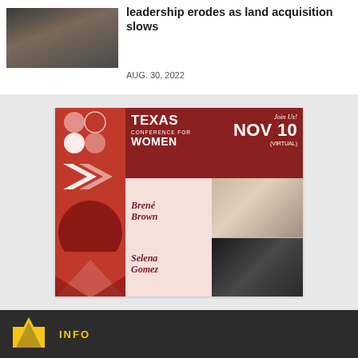[Figure (photo): Newspaper article thumbnail showing dark landscape image]
leadership erodes as land acquisition slows
AUG. 30, 2022
[Figure (infographic): Texas Conference for Women advertisement banner. Join Us! NOV 10 (VIRTUAL). Featuring Brené Brown and Selena Gomez.]
[Figure (logo): Footer logo - yellow triangle/mountain shape on dark background]
INFO